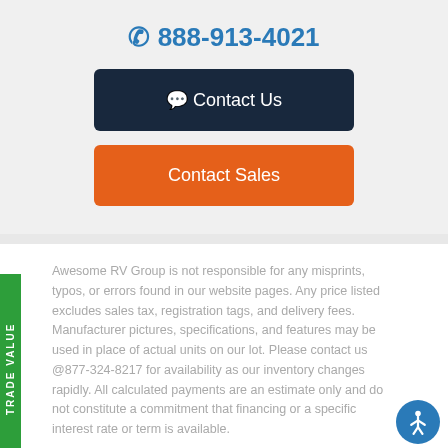📞 888-913-4021
💬 Contact Us
Contact Sales
Awesome RV Group is not responsible for any misprints, typos, or errors found in our website pages. Any price listed excludes sales tax, registration tags, and delivery fees. Manufacturer pictures, specifications, and features may be used in place of actual units on our lot. Please contact us @877-324-8217 for availability as our inventory changes rapidly. All calculated payments are an estimate only and do not constitute a commitment that financing or a specific interest rate or term is available.